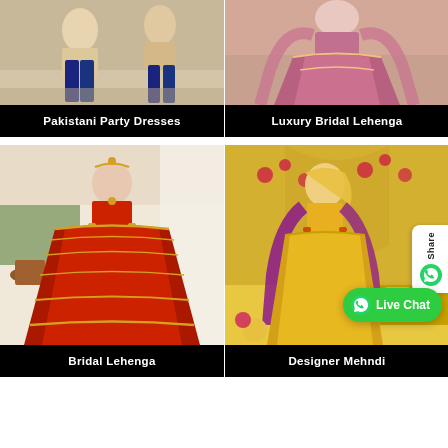[Figure (photo): Pakistani party dresses photo showing models in blue wide-leg trousers and cream/beige outfit]
Pakistani Party Dresses
[Figure (photo): Luxury bridal lehenga photo showing model in pink/mauve heavily embroidered bridal lehenga with dupatta]
Luxury Bridal Lehenga
[Figure (photo): Bridal lehenga photo showing model in red heavily embroidered lehenga choli with gold work in decorated mandap setting]
[Figure (photo): Designer mehndi outfit photo showing model in yellow mehndi dress with purple dupatta in decorated room]
Bridal Lehenga
Designer Mehndi